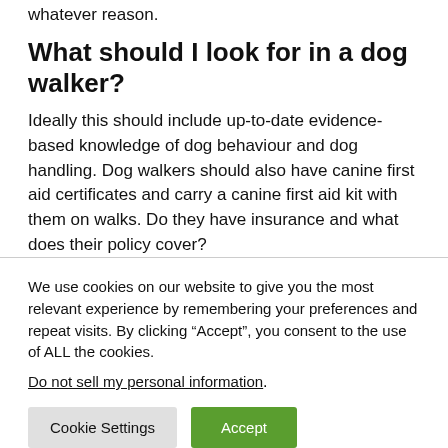whatever reason.
What should I look for in a dog walker?
Ideally this should include up-to-date evidence-based knowledge of dog behaviour and dog handling. Dog walkers should also have canine first aid certificates and carry a canine first aid kit with them on walks. Do they have insurance and what does their policy cover?
We use cookies on our website to give you the most relevant experience by remembering your preferences and repeat visits. By clicking “Accept”, you consent to the use of ALL the cookies.
Do not sell my personal information.
Cookie Settings
Accept